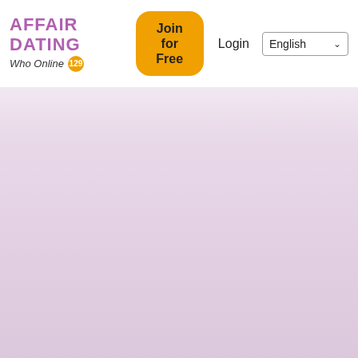AFFAIR DATING
Who Online 129
Join for Free
Login
English